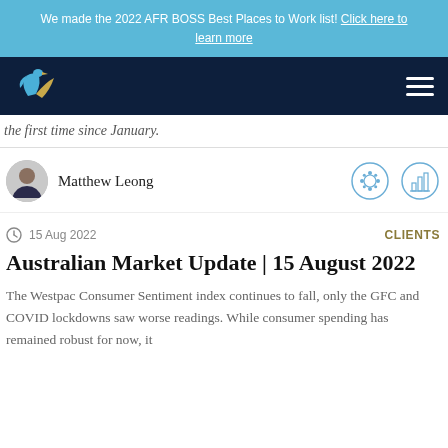We made the 2022 AFR BOSS Best Places to Work list! Click here to learn more
[Figure (logo): Navigation bar with bird logo on dark navy background and hamburger menu icon]
the first time since January.
[Figure (photo): Round avatar photo of Matthew Leong in suit]
Matthew Leong
15 Aug 2022
CLIENTS
Australian Market Update | 15 August 2022
The Westpac Consumer Sentiment index continues to fall, only the GFC and COVID lockdowns saw worse readings. While consumer spending has remained robust for now, it